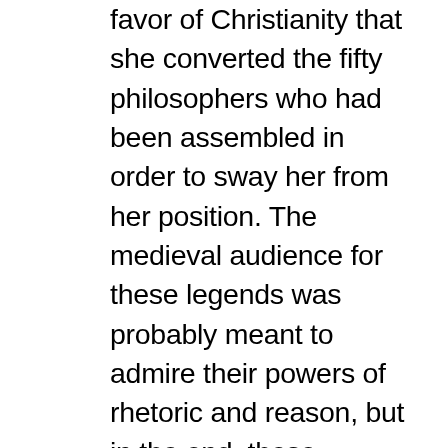favor of Christianity that she converted the fifty philosophers who had been assembled in order to sway her from her position. The medieval audience for these legends was probably meant to admire their powers of rhetoric and reason, but in the end, these eloquent women were punished and then killed, with their persistent speech an important motivation for those who tortured and executed them. This ambivalence about women's speech was evident in the Middle Ages not only in hagiography, but also in literature, in fabliaux, in conduct manuals, and in real life, where talkative women were often mocked, suspected, feared, and prosecuted. In the following I analyze some of the medieval texts and images that depict the silencing of women, often